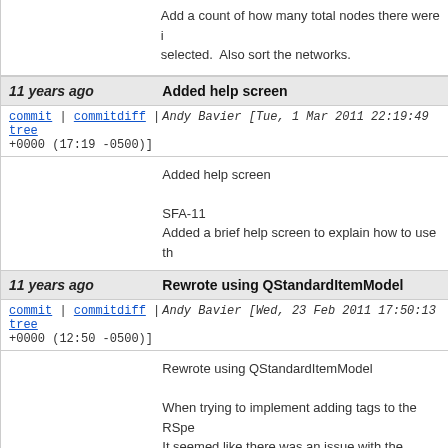Add a count of how many total nodes there were i selected.  Also sort the networks.
11 years ago   Added help screen
commit | commitdiff | tree   Andy Bavier [Tue, 1 Mar 2011 22:19:49 +0000 (17:19 -0500)]
Added help screen

SFA-11
Added a brief help screen to explain how to use th
11 years ago   Rewrote using QStandardItemModel
commit | commitdiff | tree   Andy Bavier [Wed, 23 Feb 2011 17:50:13 +0000 (12:50 -0500)]
Rewrote using QStandardItemModel

When trying to implement adding tags to the RSpe It seemed like there was an issue with the interact Scrapping the custom model and replacing it with removing tags appears to be working.
11 years ago   Remove slice tags